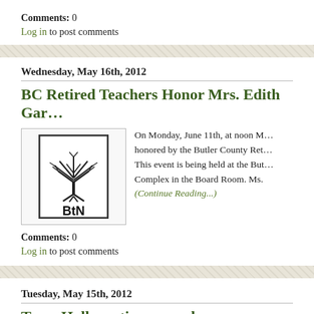Comments: 0
Log in to post comments
Wednesday, May 16th, 2012
BC Retired Teachers Honor Mrs. Edith Gar…
[Figure (logo): BtN logo with a tree illustration above the bold text 'BtN' inside a rectangular border]
On Monday, June 11th, at noon M… honored by the Butler County Ret… This event is being held at the But… Complex in the Board Room. Ms.… (Continue Reading...)
Comments: 0
Log in to post comments
Tuesday, May 15th, 2012
Town Hall meeting on underage drinking…